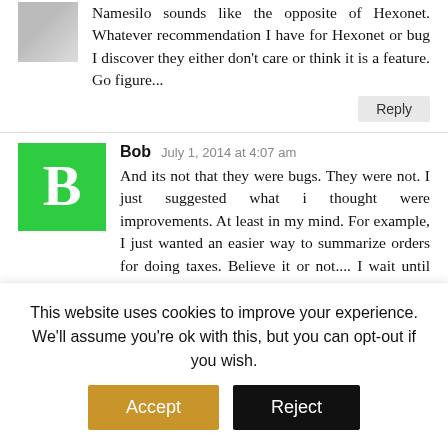Namesilo sounds like the opposite of Hexonet. Whatever recommendation I have for Hexonet or bug I discover they either don't care or think it is a feature. Go figure...
Reply
[Figure (photo): Green square avatar with white letter B for user Bob]
Bob  July 1, 2014 at 4:07 am
And its not that they were bugs. They were not. I just suggested what i thought were improvements. At least in my mind. For example, I just wanted an easier way to summarize orders for doing taxes. Believe it or not.... I wait until the last minute and am in a rush. They came up with a great way of doing it which saves me time.
Reply
This website uses cookies to improve your experience. We'll assume you're ok with this, but you can opt-out if you wish.
Accept
Reject